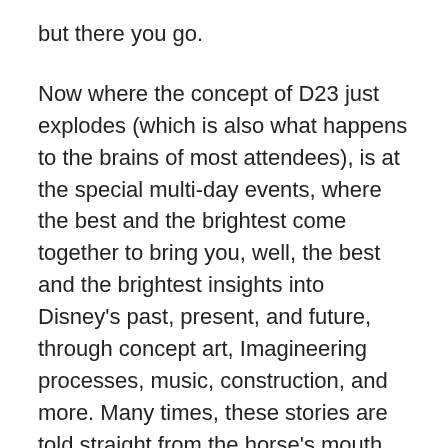but there you go.
Now where the concept of D23 just explodes (which is also what happens to the brains of most attendees), is at the special multi-day events, where the best and the brightest come together to bring you, well, the best and the brightest insights into Disney's past, present, and future, through concept art, Imagineering processes, music, construction, and more. Many times, these stories are told straight from the horse's mouth, when present or retired Disney cast members, Imagineers, Legends, and archivists share the information.
The first of these events was the D23 Expo in 2009. At that time, I was personally just starting down my blogging and "public" (for lack of a better term